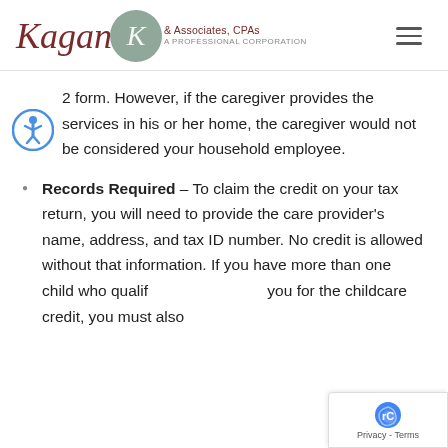Kagan & Associates, CPAs — A Professional Corporation
2 form. However, if the caregiver provides the services in his or her home, the caregiver would not be considered your household employee.
Records Required – To claim the credit on your tax return, you will need to provide the care provider's name, address, and tax ID number. No credit is allowed without that information. If you have more than one child who qualifies you for the childcare credit, you must also